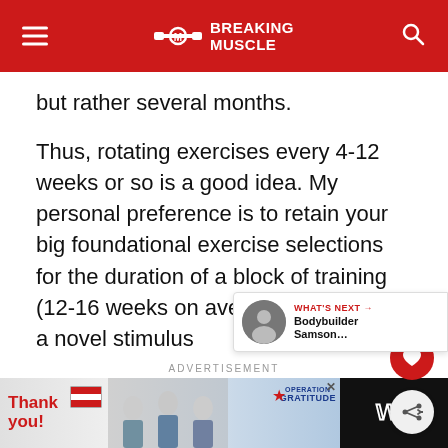Breaking Muscle
but rather several months.
Thus, rotating exercises every 4-12 weeks or so is a good idea. My personal preference is to retain your big foundational exercise selections for the duration of a block of training (12-16 weeks on average). To provide a novel stimulus to the muscle, and keep your training interest, rotate accessory exercises every 4-6 weeks
ADVERTISEMENT
[Figure (photo): Advertisement banner with 'Thank you' message and Operation Gratitude branding showing healthcare workers]